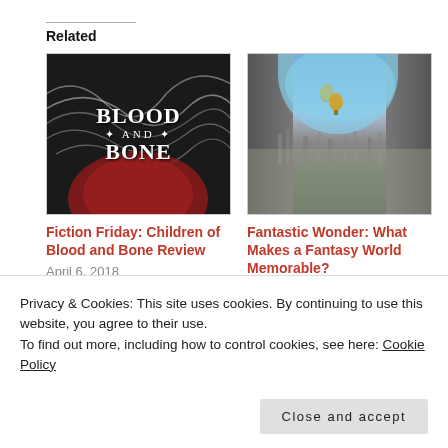Related
[Figure (photo): Book cover for 'Blood and Bone' with swirling black and white design and red circle]
Fiction Friday: Children of Blood and Bone Review
April 6, 2018
In "Fiction Friday"
[Figure (photo): Fantasy landscape showing a cityscape viewed through a rocky arch with a hot air balloon and blue sky]
Fantastic Wonder: What Makes a Fantasy World Memorable?
January 9, 2018
In "Fantastic Wonder"
[Figure (photo): Partial book cover image with blue and brown tones, partially obscured by cookie banner]
Privacy & Cookies: This site uses cookies. By continuing to use this website, you agree to their use.
To find out more, including how to control cookies, see here: Cookie Policy
Close and accept
In "Fiction Friday"